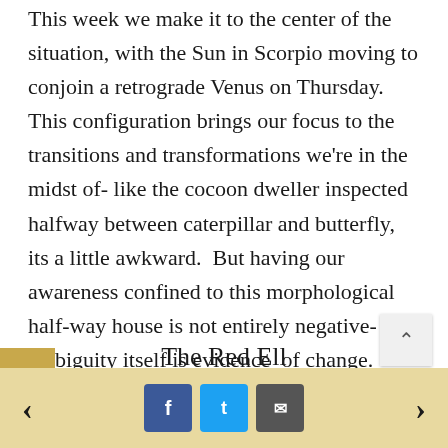This week we make it to the center of the situation, with the Sun in Scorpio moving to conjoin a retrograde Venus on Thursday.  This configuration brings our focus to the transitions and transformations we're in the midst of- like the cocoon dweller inspected halfway between caterpillar and butterfly, its a little awkward.  But having our awareness confined to this morphological half-way house is not entirely negative- the ambiguity itself is evidence  of change.
< f t [email] >